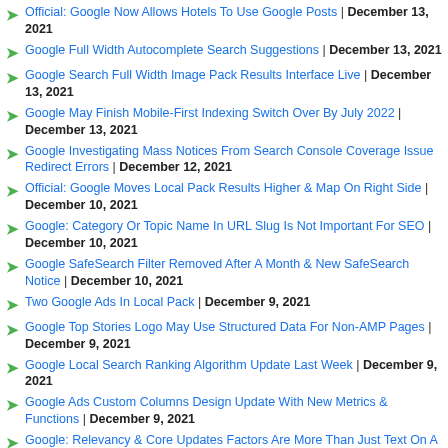Official: Google Now Allows Hotels To Use Google Posts | December 13, 2021
Google Full Width Autocomplete Search Suggestions | December 13, 2021
Google Search Full Width Image Pack Results Interface Live | December 13, 2021
Google May Finish Mobile-First Indexing Switch Over By July 2022 | December 13, 2021
Google Investigating Mass Notices From Search Console Coverage Issue Redirect Errors | December 12, 2021
Official: Google Moves Local Pack Results Higher & Map On Right Side | December 10, 2021
Google: Category Or Topic Name In URL Slug Is Not Important For SEO | December 10, 2021
Google SafeSearch Filter Removed After A Month & New SafeSearch Notice | December 10, 2021
Two Google Ads In Local Pack | December 9, 2021
Google Top Stories Logo May Use Structured Data For Non-AMP Pages | December 9, 2021
Google Local Search Ranking Algorithm Update Last Week | December 9, 2021
Google Ads Custom Columns Design Update With New Metrics & Functions | December 9, 2021
Google: Relevancy & Core Updates Factors Are More Than Just Text On A Page | December 9, 2021
Google Search Console Performance Report Updated For Google News - Impression Changes | December 9, 2021